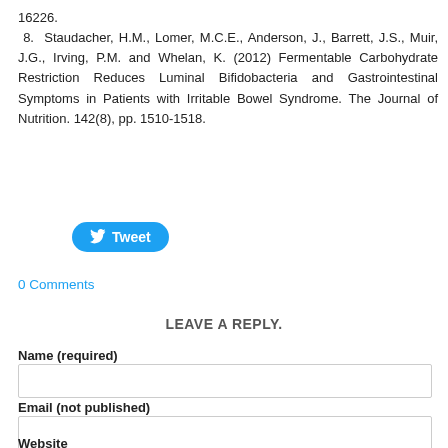16226.
 8.  Staudacher, H.M., Lomer, M.C.E., Anderson, J., Barrett, J.S., Muir, J.G., Irving, P.M. and Whelan, K. (2012) Fermentable Carbohydrate Restriction Reduces Luminal Bifidobacteria and Gastrointestinal Symptoms in Patients with Irritable Bowel Syndrome. The Journal of Nutrition. 142(8), pp. 1510-1518.
[Figure (other): Twitter Tweet button with bird icon]
0 Comments
LEAVE A REPLY.
Name (required)
Email (not published)
Website